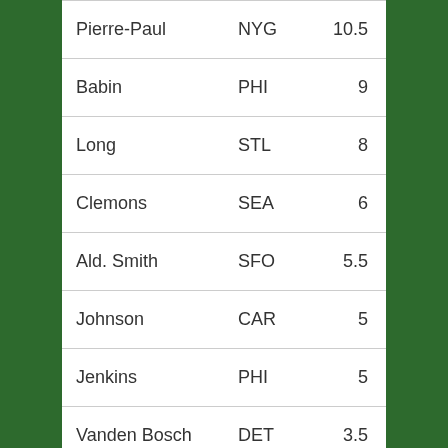| Pierre-Paul | NYG | 10.5 |
| Babin | PHI | 9 |
| Long | STL | 8 |
| Clemons | SEA | 6 |
| Ald. Smith | SFO | 5.5 |
| Johnson | CAR | 5 |
| Jenkins | PHI | 5 |
| Vanden Bosch | DET | 3.5 |